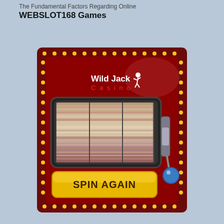The Fundamental Factors Regarding Online WEBSLOT168 Games
[Figure (illustration): Wild Jack Casino slot machine image with spinning reels and a yellow 'SPIN AGAIN' button, dark red background with gold dot border, and a blue-tipped spin handle on the right side.]